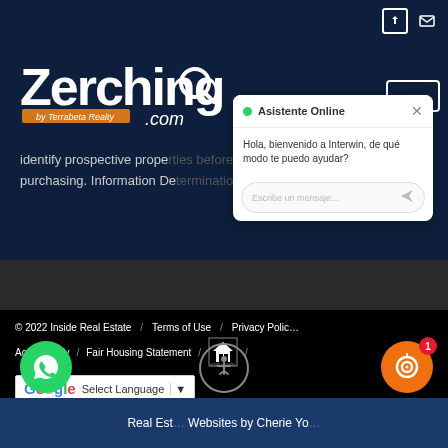[Figure (logo): Zerching.com by Terrabeta Realty logo in white on dark navy background]
identify prospective prope... st purchasing. Information De...ow
[Figure (screenshot): Chat popup: Asistente Online with message 'Hola, bienvenido a Interwin, de qué modo te puedo ayudar?' and input field 'Escribe un mensaje...']
© 2022 Inside Real Estate / Terms of Use / Privacy Polic... Accessibility / Fair Housing Statement / [Equal Housing Logo] /
[Figure (other): Google Translate widget with 'Select Language' dropdown]
[Figure (other): WhatsApp green circle button]
[Figure (other): Accessibility circle button]
Real Est... Websites by Cherie Yo...
[Figure (other): Orange chat circle button with badge showing 1]